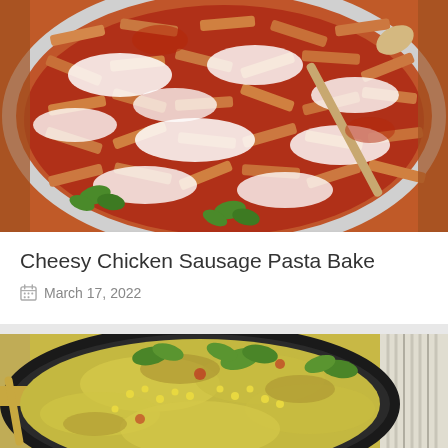[Figure (photo): Overhead shot of cheesy pasta bake in a round dish with melted mozzarella, tomato sauce, penne pasta, and fresh herbs, with a spoon resting in it on a wooden surface]
Cheesy Chicken Sausage Pasta Bake
March 17, 2022
[Figure (photo): Overhead shot of a cheesy skillet bake in a black cast iron pan with corn, green onions, cilantro, and a golden-brown cheesy crust, with a striped towel and spoon beside it]